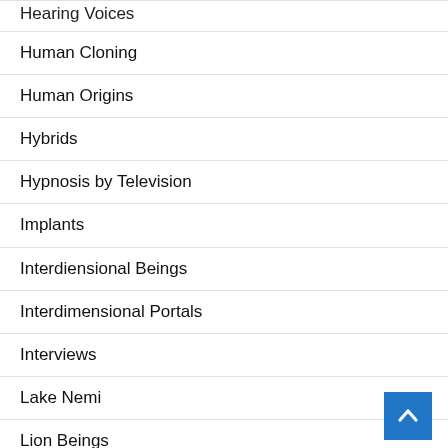Hearing Voices
Human Cloning
Human Origins
Hybrids
Hypnosis by Television
Implants
Interdiensional Beings
Interdimensional Portals
Interviews
Lake Nemi
Lion Beings
Longevity
Lyrians
Mantids